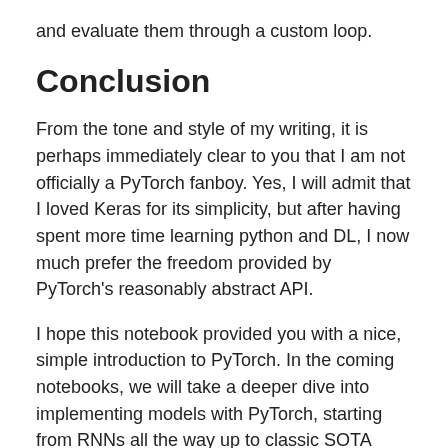and evaluate them through a custom loop.
Conclusion
From the tone and style of my writing, it is perhaps immediately clear to you that I am not officially a PyTorch fanboy. Yes, I will admit that I loved Keras for its simplicity, but after having spent more time learning python and DL, I now much prefer the freedom provided by PyTorch's reasonably abstract API.
I hope this notebook provided you with a nice, simple introduction to PyTorch. In the coming notebooks, we will take a deeper dive into implementing models with PyTorch, starting from RNNs all the way up to classic SOTA vision models like InceptionNet, ResNet, and seq2seq models. I can definitely tell you that these are coming, because, as funny as this sounds, I already have all the notetbooks and code ready; I just have to annotate